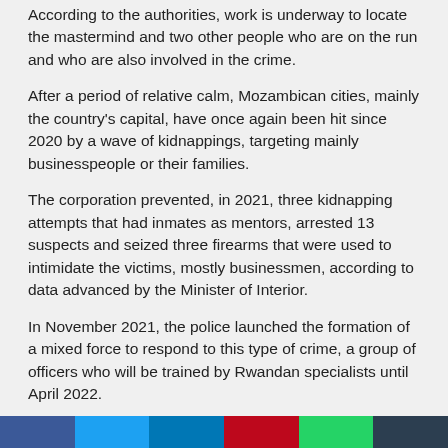According to the authorities, work is underway to locate the mastermind and two other people who are on the run and who are also involved in the crime.
After a period of relative calm, Mozambican cities, mainly the country's capital, have once again been hit since 2020 by a wave of kidnappings, targeting mainly businesspeople or their families.
The corporation prevented, in 2021, three kidnapping attempts that had inmates as mentors, arrested 13 suspects and seized three firearms that were used to intimidate the victims, mostly businessmen, according to data advanced by the Minister of Interior.
In November 2021, the police launched the formation of a mixed force to respond to this type of crime, a group of officers who will be trained by Rwandan specialists until April 2022.
Source: Lusa
[Figure (other): Row of social media share buttons: Facebook (blue), Twitter (light blue), LinkedIn (blue), Pinterest (red), WhatsApp (green), dark share button]